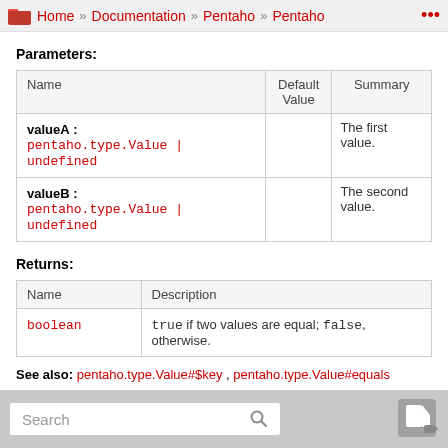Home » Documentation » Pentaho » Pentaho
Parameters:
| Name | Default Value | Summary |
| --- | --- | --- |
| valueA :
pentaho.type.Value | undefined |  | The first value. |
| valueB :
pentaho.type.Value | undefined |  | The second value. |
Returns:
| Name | Description |
| --- | --- |
| boolean | true if two values are equal; false, otherwise. |
See also: pentaho.type.Value#$key , pentaho.type.Value#equals